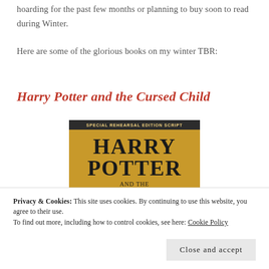hoarding for the past few months or planning to buy soon to read during Winter.
Here are some of the glorious books on my winter TBR:
Harry Potter and the Cursed Child
[Figure (photo): Book cover of Harry Potter and the Cursed Child – Special Rehearsal Edition Script. Gold/amber background with large black serif text reading HARRY POTTER and below AND THE CURSED CHILD, dark top banner.]
Privacy & Cookies: This site uses cookies. By continuing to use this website, you agree to their use.
To find out more, including how to control cookies, see here: Cookie Policy